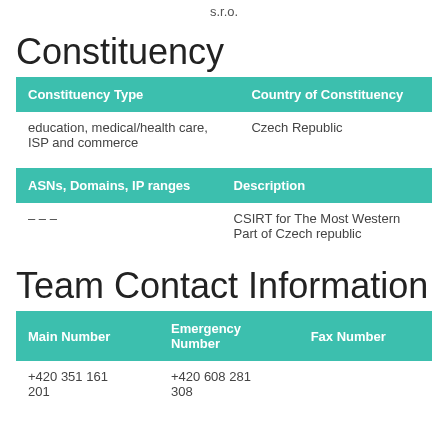s.r.o.
Constituency
| Constituency Type | Country of Constituency |
| --- | --- |
| education, medical/health care, ISP and commerce | Czech Republic |
| ASNs, Domains, IP ranges | Description |
| --- | --- |
| – – – | CSIRT for The Most Western Part of Czech republic |
Team Contact Information
| Main Number | Emergency Number | Fax Number |
| --- | --- | --- |
| +420 351 161
201 | +420 608 281
308 |  |